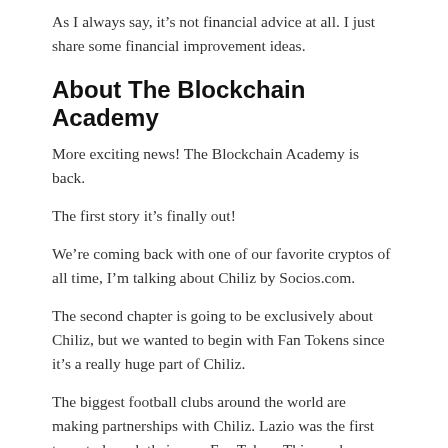As I always say, it’s not financial advice at all. I just share some financial improvement ideas.
About The Blockchain Academy
More exciting news! The Blockchain Academy is back.
The first story it’s finally out!
We’re coming back with one of our favorite cryptos of all time, I’m talking about Chiliz by Socios.com.
The second chapter is going to be exclusively about Chiliz, but we wanted to begin with Fan Tokens since it’s a really huge part of Chiliz.
The biggest football clubs around the world are making partnerships with Chiliz. Lazio was the first team to launch their own Fan Token. This week,